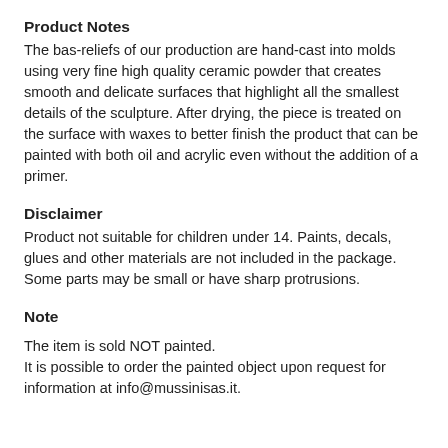Product Notes
The bas-reliefs of our production are hand-cast into molds using very fine high quality ceramic powder that creates smooth and delicate surfaces that highlight all the smallest details of the sculpture. After drying, the piece is treated on the surface with waxes to better finish the product that can be painted with both oil and acrylic even without the addition of a primer.
Disclaimer
Product not suitable for children under 14. Paints, decals, glues and other materials are not included in the package. Some parts may be small or have sharp protrusions.
Note
The item is sold NOT painted.
It is possible to order the painted object upon request for information at info@mussinisas.it.